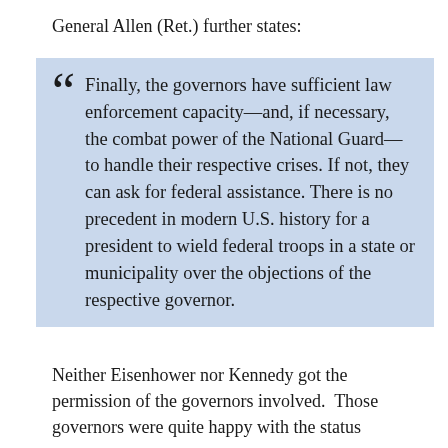General Allen (Ret.) further states:
Finally, the governors have sufficient law enforcement capacity—and, if necessary, the combat power of the National Guard—to handle their respective crises. If not, they can ask for federal assistance. There is no precedent in modern U.S. history for a president to wield federal troops in a state or municipality over the objections of the respective governor.
Neither Eisenhower nor Kennedy got the permission of the governors involved.  Those governors were quite happy with the status